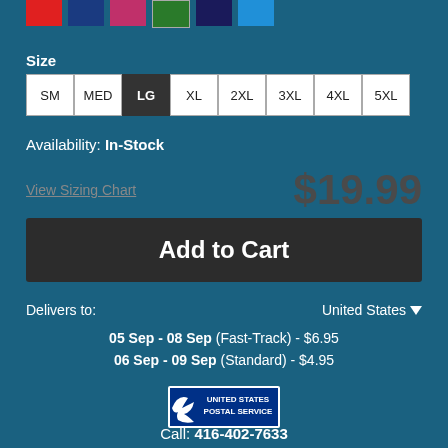[Figure (other): Row of color swatches: red, dark blue, pink/magenta, green, dark navy, bright blue]
Size
SM  MED  LG (selected)  XL  2XL  3XL  4XL  5XL
Availability: In-Stock
View Sizing Chart
$19.99
Add to Cart
Delivers to:   United States ▼
05 Sep - 08 Sep (Fast-Track) - $6.95
06 Sep - 09 Sep (Standard) - $4.95
[Figure (logo): United States Postal Service (USPS) logo]
Call: 416-402-7633